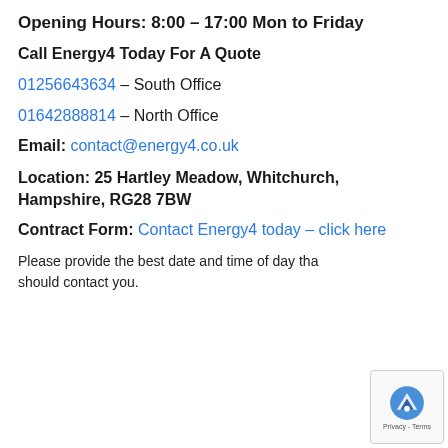Opening Hours: 8:00 – 17:00 Mon to Friday
Call Energy4 Today For A Quote
01256643634 – South Office
01642888814 – North Office
Email: contact@energy4.co.uk
Location: 25 Hartley Meadow, Whitchurch, Hampshire, RG28 7BW
Contract Form: Contact Energy4 today – click here
Please provide the best date and time of day that should contact you.